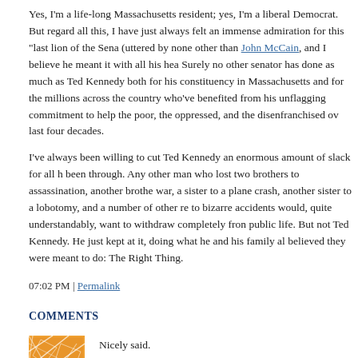Yes, I'm a life-long Massachusetts resident; yes, I'm a liberal Democrat. But regardless of all this, I have just always felt an immense admiration for this "last lion of the Senate" (uttered by none other than John McCain, and I believe he meant it with all his heart). Surely no other senator has done as much as Ted Kennedy both for his constituency in Massachusetts and for the millions across the country who've benefited from his unflagging commitment to help the poor, the oppressed, and the disenfranchised over the last four decades.
I've always been willing to cut Ted Kennedy an enormous amount of slack for all he's been through. Any other man who lost two brothers to assassination, another brother in war, a sister to a plane crash, another sister to a lobotomy, and a number of other relatives to bizarre accidents would, quite understandably, want to withdraw completely from public life. But not Ted Kennedy. He just kept at it, doing what he and his family always believed they were meant to do: The Right Thing.
07:02 PM | Permalink
COMMENTS
Nicely said.
Posted by: Susan | May 21, 2008 at 08:24 PM